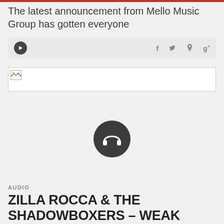The latest announcement from Mello Music Group has gotten everyone
[Figure (screenshot): Social sharing bar with play button on left and social media icons (f, bird/twitter, p, g+) on right, on grey background]
[Figure (screenshot): Broken image placeholder with small torn image icon in top-left corner, white background with border]
[Figure (other): Dark circular headphone icon/audio player button centered on light grey background]
AUDIO
ZILLA ROCCA & THE SHADOWBOXERS – WEAK